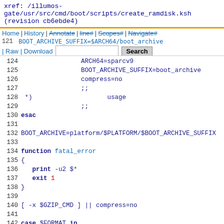xref: /illumos-gate/usr/src/cmd/boot/scripts/create_ramdisk.ksh (revision cb6ebde4)
Home | History | Annotate | line# | Scopes# | Navigate# | Raw | Download  [Search]  current directory
121  BOOT_ARCHIVE_SUFFIX=$ARCH64/boot_archive
122
123  sun4u|sun4v)  ISA=sparc
124  ARCH64=sparcv9
125  BOOT_ARCHIVE_SUFFIX=boot_archive
126  compress=no
127  ;;
128  *)  usage
129  ;;
130  esac
131
132  BOOT_ARCHIVE=platform/$PLATFORM/$BOOT_ARCHIVE_SUFFIX
133
134  function fatal_error
135  {
136    print -u2 $*
137    exit 1
138  }
139
140  [ -x $GZIP_CMD ] || compress=no
141
142  case $FORMAT in
143  cpio)  [ -x $CPIO_CMD ] || FORMAT=ufs ;;
144  ufs-nocompress)  FORMAT=ufs; compress=no ;;
145  ufs)  ;;